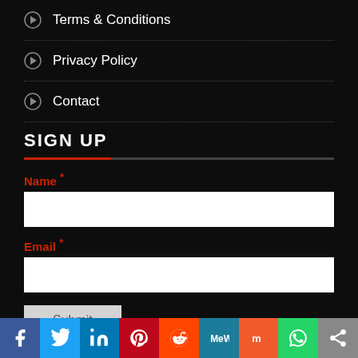Terms & Conditions
Privacy Policy
Contact
SIGN UP
Name *
Email *
Submit
Social share bar: Facebook, Twitter, LinkedIn, Pinterest, Reddit, MeWe, Mix, WhatsApp, More